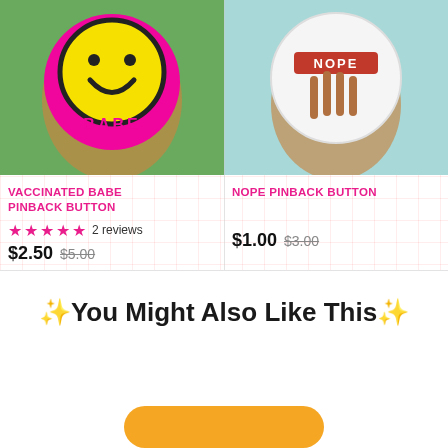[Figure (photo): Hand holding a circular pink pinback button with a yellow smiley face and the word BABE in colorful letters, on a green background]
VACCINATED BABE PINBACK BUTTON
★★★★★ 2 reviews
$2.50  $5.00
[Figure (photo): Hand holding a circular white pinback button with the word NOPE on a red banner over a hand illustration, on a teal background]
NOPE PINBACK BUTTON
$1.00  $3.00
✨You Might Also Like This✨